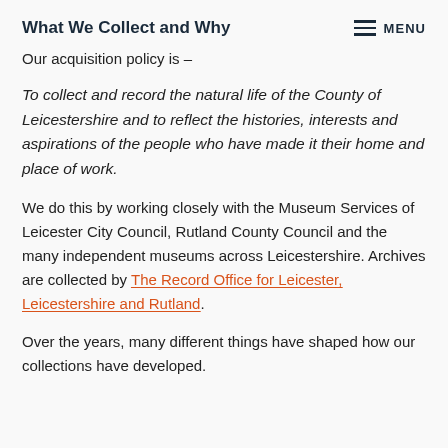What We Collect and Why
Our acquisition policy is –
To collect and record the natural life of the County of Leicestershire and to reflect the histories, interests and aspirations of the people who have made it their home and place of work.
We do this by working closely with the Museum Services of Leicester City Council, Rutland County Council and the many independent museums across Leicestershire. Archives are collected by The Record Office for Leicester, Leicestershire and Rutland.
Over the years, many different things have shaped how our collections have developed.